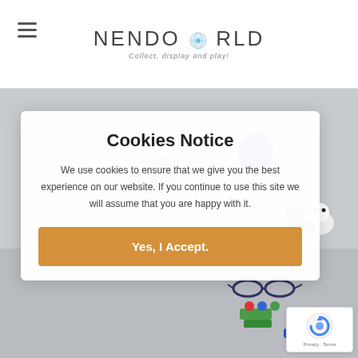NENDOWORLD — Collect, display and play!
[Figure (photo): Background photo of Nendoroid figures on a grey surface, showing various small collectible toy figures including green and blue characters, a white fluffy figure, glasses, and colorful accessories.]
Cookies Notice
We use cookies to ensure that we give you the best experience on our website. If you continue to use this site we will assume that you are happy with it.
Yes, I Accept.
[Figure (logo): Google reCAPTCHA badge showing the reCAPTCHA logo with Privacy and Terms links]